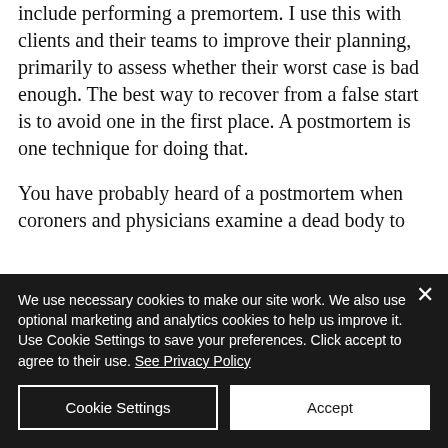include performing a premortem. I use this with clients and their teams to improve their planning, primarily to assess whether their worst case is bad enough. The best way to recover from a false start is to avoid one in the first place. A postmortem is one technique for doing that.
You have probably heard of a postmortem when coroners and physicians examine a dead body to
We use necessary cookies to make our site work. We also use optional marketing and analytics cookies to help us improve it. Use Cookie Settings to save your preferences. Click accept to agree to their use. See Privacy Policy